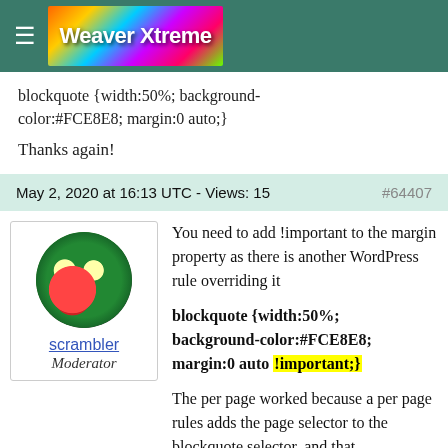Weaver Xtreme
blockquote {width:50%; background-color:#FCE8E8; margin:0 auto;}
Thanks again!
May 2, 2020 at 16:13 UTC - Views: 15   #64407
[Figure (illustration): Circular cartoon avatar of a frog-like character with yellow eyes and red mouth, username 'scrambler', role 'Moderator']
You need to add !important to the margin property as there is another WordPress rule overriding it
blockquote {width:50%; background-color:#FCE8E8; margin:0 auto !important;}
The per page worked because a per page rules adds the page selector to the blockquote selector, and that